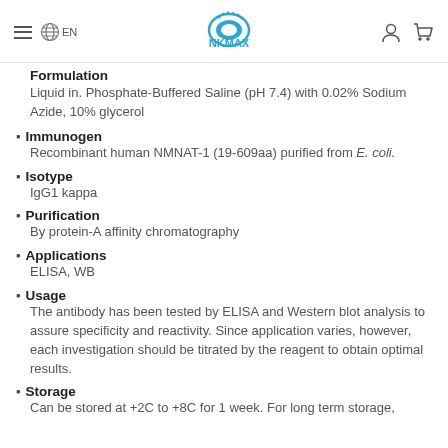NKMAX EN
Formulation
Liquid in. Phosphate-Buffered Saline (pH 7.4) with 0.02% Sodium Azide, 10% glycerol
Immunogen
Recombinant human NMNAT-1 (19-609aa) purified from E. coli.
Isotype
IgG1 kappa
Purification
By protein-A affinity chromatography
Applications
ELISA, WB
Usage
The antibody has been tested by ELISA and Western blot analysis to assure specificity and reactivity. Since application varies, however, each investigation should be titrated by the reagent to obtain optimal results.
Storage
Can be stored at +2C to +8C for 1 week. For long term storage,